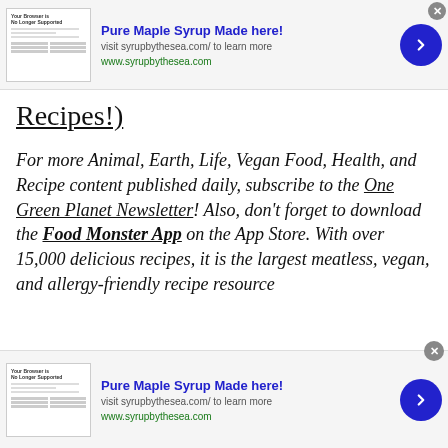[Figure (other): Advertisement banner for Pure Maple Syrup Made here! with thumbnail image, text, and navigation arrow button]
Recipes!)
For more Animal, Earth, Life, Vegan Food, Health, and Recipe content published daily, subscribe to the One Green Planet Newsletter! Also, don't forget to download the Food Monster App on the App Store. With over 15,000 delicious recipes, it is the largest meatless, vegan, and allergy-friendly recipe resource
[Figure (other): Advertisement banner for Pure Maple Syrup Made here! with thumbnail image, text, and navigation arrow button]